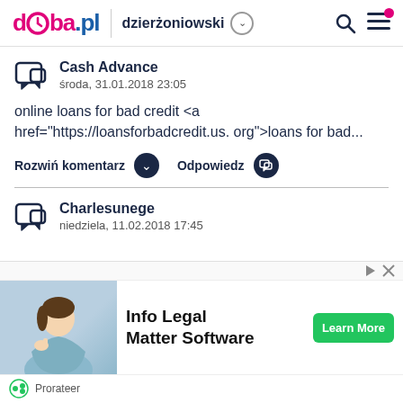doba.pl dzierżoniowski
Cash Advance
środa, 31.01.2018 23:05
online loans for bad credit <a href="https://loansforbadcredit.us.org">loans for bad...
Rozwiń komentarz   Odpowiedz
Charlesunege
niedziela, 11.02.2018 17:45
[Figure (photo): Advertisement banner showing a woman in blue blazer with text 'Info Legal Matter Software' and a green 'Learn More' button, with Prorateer branding]